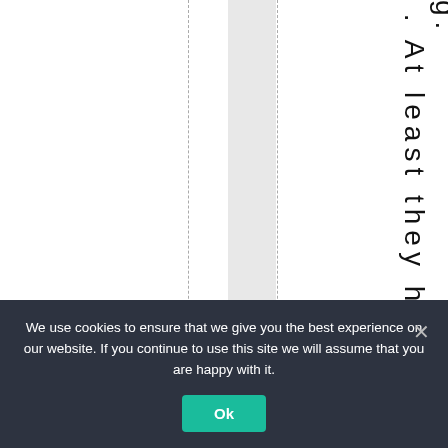g. . At least they have
We use cookies to ensure that we give you the best experience on our website. If you continue to use this site we will assume that you are happy with it.